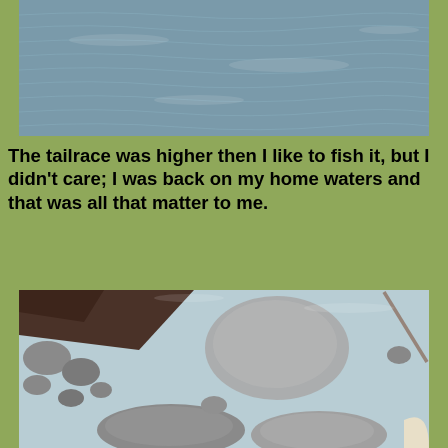[Figure (photo): Photo of a river tailrace with rippling water surface viewed from above]
The tailrace was higher then I like to fish it, but I didn't care; I was back on my home waters and that was all that matter to me.
[Figure (photo): Close-up photo of slippery rocks underwater in a gorge, with clear shallow water revealing the rocky river floor]
My wading staff was my best friend today as I maneuvered through all the rocks on the floor of the gorge. I saw one guy take a spill on the slippery rocks; luckily he didn't damage his